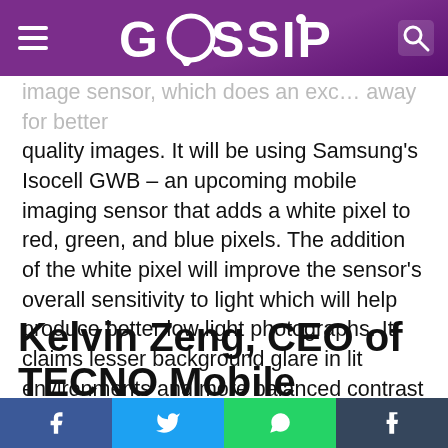GOSSIP
image sensor, which does an array for better quality images. It will be using Samsung's Isocell GWB – an upcoming mobile imaging sensor that adds a white pixel to red, green, and blue pixels. The addition of the white pixel will improve the sensor's overall sensitivity to light which will help produce better low light photographs. It claims lesser background glare in lit environments and more balanced contrast levels in darker backgrounds.
Kelvin Zeng, CEO of TECNO Mobile Pakistan said,
“TECNO shall be bringing some of the greatest technological devices from its Camon and Phantom series in Pakistan this year. After our first Borderless AMOLED – Phantom X and the Gimbal Technology Camon 18 Premier
Facebook | Twitter | WhatsApp | Tumblr